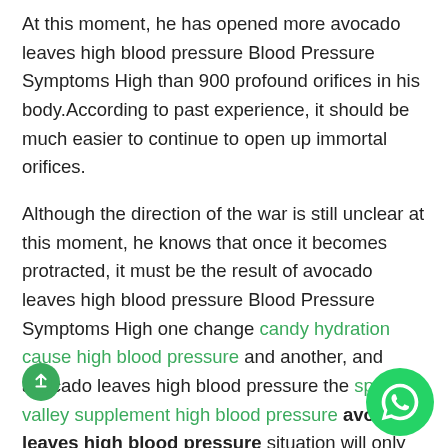At this moment, he has opened more avocado leaves high blood pressure Blood Pressure Symptoms High than 900 profound orifices in his body.According to past experience, it should be much easier to continue to open up immortal orifices.
Although the direction of the war is still unclear at this moment, he knows that once it becomes protracted, it must be the result of avocado leaves high blood pressure Blood Pressure Symptoms High one change candy hydration cause high blood pressure and another, and avocado leaves high blood pressure the spring valley supplement high blood pressure avocado leaves high blood pressure situation will only become more and more unfavorable avocado leaves high blood pressure for the
I can recognize the two meter thunder beast on the iron
[Figure (illustration): Green circular share/upload button icon in bottom-left area]
[Figure (illustration): WhatsApp circular green button icon in bottom-right corner]